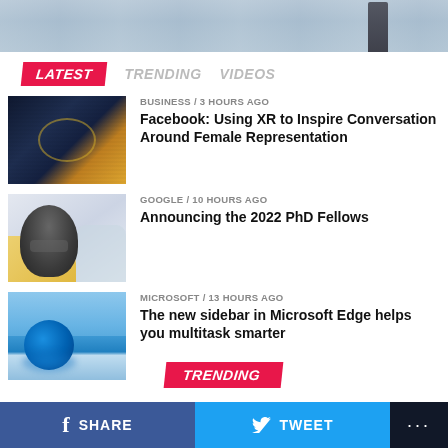[Figure (photo): Top banner image showing a person standing near glass windows in an office building]
LATEST   TRENDING   VIDEOS
[Figure (photo): Aerial view of a circular building complex at night]
BUSINESS / 3 hours ago
Facebook: Using XR to Inspire Conversation Around Female Representation
[Figure (photo): Portrait of a smiling man with glasses on a colorful illustrated background]
GOOGLE / 10 hours ago
Announcing the 2022 PhD Fellows
[Figure (logo): Microsoft Edge logo on a blue sky and water background]
MICROSOFT / 13 hours ago
The new sidebar in Microsoft Edge helps you multitask smarter
TRENDING
SHARE
TWEET